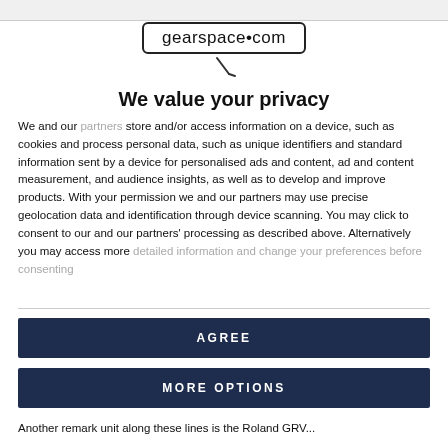gearspace.com
[Figure (logo): gearspace.com logo with rounded rectangle border and cable icon below]
We value your privacy
We and our partners store and/or access information on a device, such as cookies and process personal data, such as unique identifiers and standard information sent by a device for personalised ads and content, ad and content measurement, and audience insights, as well as to develop and improve products. With your permission we and our partners may use precise geolocation data and identification through device scanning. You may click to consent to our and our partners' processing as described above. Alternatively you may access more detailed information and change your preferences before consenting
AGREE
MORE OPTIONS
Another remark unit along these lines is the Roland GRV...